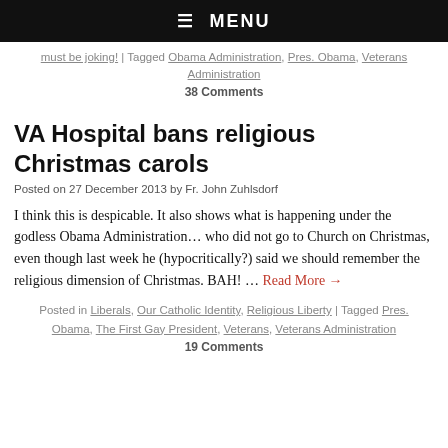☰  MENU
must be joking! | Tagged Obama Administration, Pres. Obama, Veterans Administration
38 Comments
VA Hospital bans religious Christmas carols
Posted on 27 December 2013 by Fr. John Zuhlsdorf
I think this is despicable. It also shows what is happening under the godless Obama Administration… who did not go to Church on Christmas, even though last week he (hypocritically?) said we should remember the religious dimension of Christmas. BAH! … Read More →
Posted in Liberals, Our Catholic Identity, Religious Liberty | Tagged Pres. Obama, The First Gay President, Veterans, Veterans Administration
19 Comments